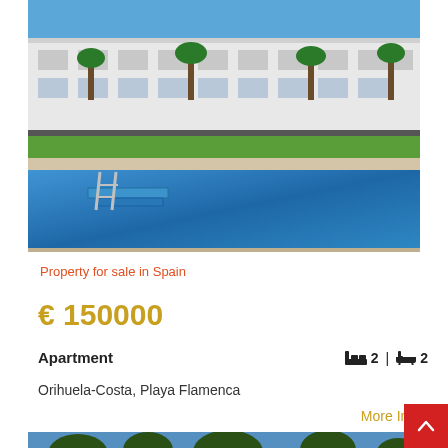[Figure (photo): Outdoor swimming pool with blue water and pool steps, residential apartment complex with white buildings and palm trees in background under blue sky]
Property for sale in Spain
€ 150000
Apartment
2 | 2
Orihuela-Costa, Playa Flamenca
More Info
[Figure (photo): Aerial view of a residential property with white buildings surrounded by green trees and vegetation]